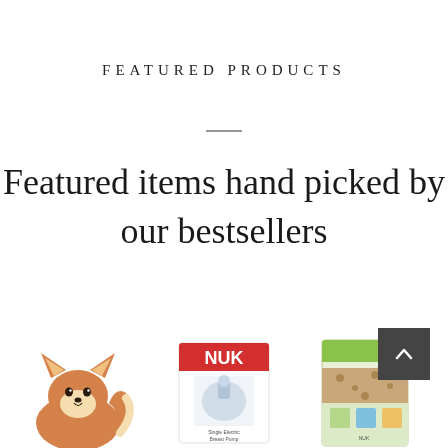FEATURED PRODUCTS
Featured items hand picked by our bestsellers
[Figure (photo): Three product images at bottom: a fox plush toy on the left, a NUK branded white box in the center, and a colorful product box on the right. A dark grey scroll-to-top button with an upward chevron is overlaid on the right side.]